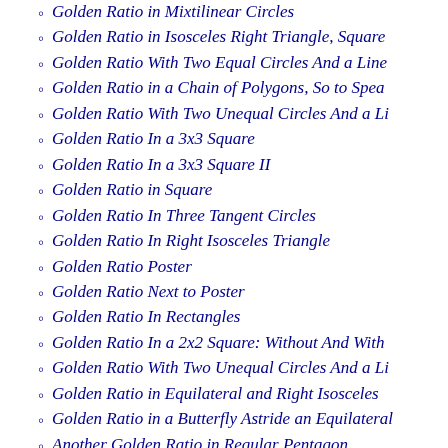Golden Ratio in Mixtilinear Circles
Golden Ratio in Isosceles Right Triangle, Square
Golden Ratio With Two Equal Circles And a Line
Golden Ratio in a Chain of Polygons, So to Spea
Golden Ratio With Two Unequal Circles And a Li
Golden Ratio In a 3x3 Square
Golden Ratio In a 3x3 Square II
Golden Ratio in Square
Golden Ratio In Three Tangent Circles
Golden Ratio In Right Isosceles Triangle
Golden Ratio Poster
Golden Ratio Next to Poster
Golden Ratio In Rectangles
Golden Ratio In a 2x2 Square: Without And With
Golden Ratio With Two Unequal Circles And a Li
Golden Ratio in Equilateral and Right Isosceles
Golden Ratio in a Butterfly Astride an Equilateral
Another Golden Ratio in Regular Pentagon
Golden Ratio in 5-gon and 6-gon
Golden Ratio in an Isosceles Trapezoid with a 60
Golden Ratio in Circles
Golden Ratio in Pentagon And Two Squares